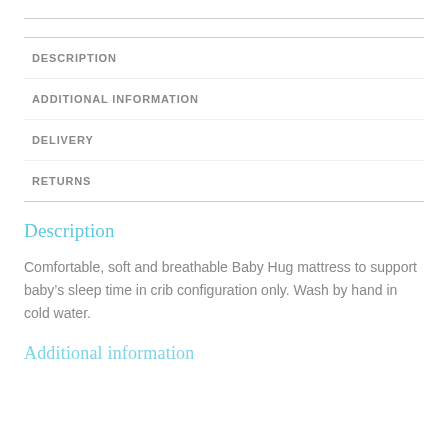DESCRIPTION
ADDITIONAL INFORMATION
DELIVERY
RETURNS
Description
Comfortable, soft and breathable Baby Hug mattress to support baby's sleep time in crib configuration only. Wash by hand in cold water.
Additional information